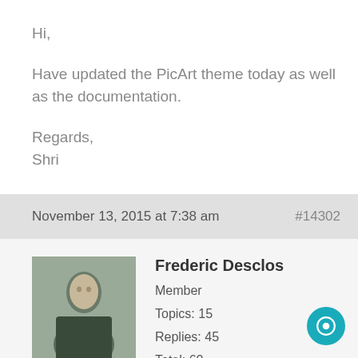Hi,

Have updated the PicArt theme today as well as the documentation.

Regards,
Shri
November 13, 2015 at 7:38 am    #14302
[Figure (photo): Avatar photo of Frederic Desclos, a person outdoors with trees in background]
Frederic Desclos
Member
Topics: 15
Replies: 45
Total: 60
Member since: July 20, 2015